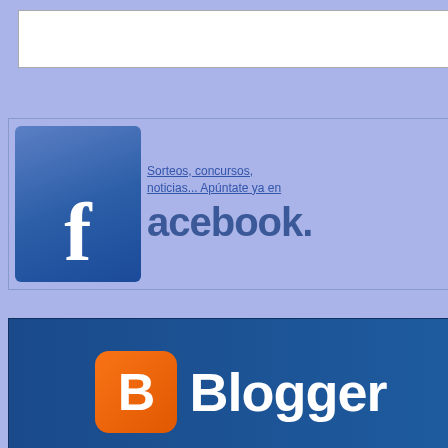[Figure (screenshot): Textarea input box with white background and resize handle]
[Figure (logo): Facebook logo with 'f' icon and text 'acebook' with link 'Sorteos, concursos, noticias... Apuntate ya en']
[Figure (logo): Blogger logo - orange B icon on blue background with white 'Blogger' text]
[Figure (logo): GenuineTrusted VERIFIED circular stamp seal]
Condiciones